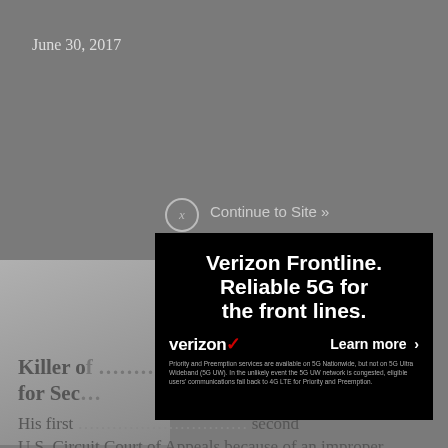June 30, 2017
Killer of… nalty for Sec…
His first… second U.S. Circuit Court of Appeals because of an improper prosecution argument. He was again sentenced to
[Figure (screenshot): Verizon Frontline advertisement overlay on a news article. The ad has a black background with bold white text reading 'Verizon Frontline. Reliable 5G for the front lines.' Below is the Verizon logo with a red checkmark and a 'Learn more >' button. Fine print reads: 'Priority and Preemption services are available on 5G Nationwide, but not on 5G Ultra Wideband (5G UW). In the unlikely event the 5G UW network is congested, eligible users' communications fall back to 4G LTE for Priority and Preemption.' A close X button and 'Continue to Site »' link appear above the ad.]